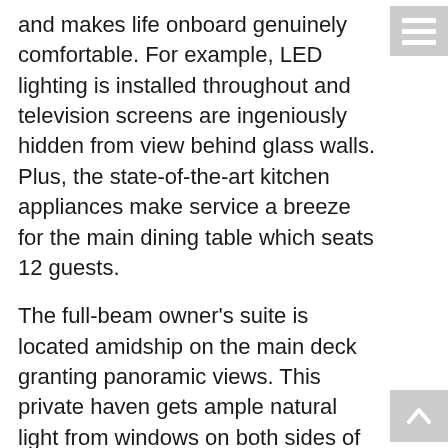and makes life onboard genuinely comfortable. For example, LED lighting is installed throughout and television screens are ingeniously hidden from view behind glass walls. Plus, the state-of-the-art kitchen appliances make service a breeze for the main dining table which seats 12 guests.
The full-beam owner's suite is located amidship on the main deck granting panoramic views. This private haven gets ample natural light from windows on both sides of the cabin. Plus, the large ensuite head has his and hers sinks and a spacious shower.
The Astondoa Century 110' is equipped with two MTU 16V 200 M86 engines, which offer unbeatable performance given their size and displacement. Maximum speed is 24 knots and cruising speed is about 20 knots. There is the